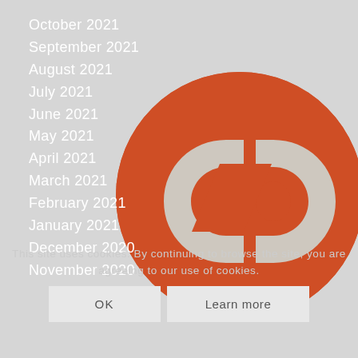October 2021
September 2021
August 2021
July 2021
June 2021
May 2021
April 2021
March 2021
February 2021
January 2021
December 2020
November 2020
[Figure (logo): Orange circular logo with stylized 'ep' or linked chain icon in light gray/white on orange background]
This site uses cookies. By continuing to browse the site, you are agreeing to our use of cookies.
OK
Learn more